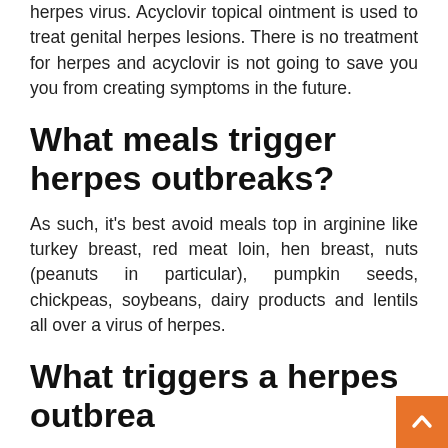herpes virus. Acyclovir topical ointment is used to treat genital herpes lesions. There is no treatment for herpes and acyclovir is not going to save you you from creating symptoms in the future.
What meals trigger herpes outbreaks?
As such, it's best avoid meals top in arginine like turkey breast, red meat loin, hen breast, nuts (peanuts in particular), pumpkin seeds, chickpeas, soybeans, dairy products and lentils all over a virus of herpes.
What triggers a herpes outbrea